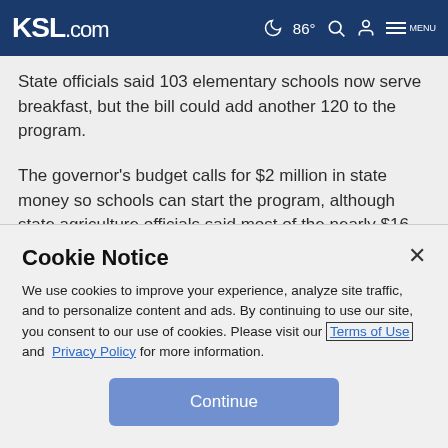KSL.com  86°  [search] [user] MENU
State officials said 103 elementary schools now serve breakfast, but the bill could add another 120 to the program.
The governor's budget calls for $2 million in state money so schools can start the program, although state agriculture officials said most of the nearly $16 million annual cost of serving breakfast would be covered by federal reimbursements. The neediest schools would get the state
Cookie Notice
We use cookies to improve your experience, analyze site traffic, and to personalize content and ads. By continuing to use our site, you consent to our use of cookies. Please visit our Terms of Use and Privacy Policy for more information.
Continue